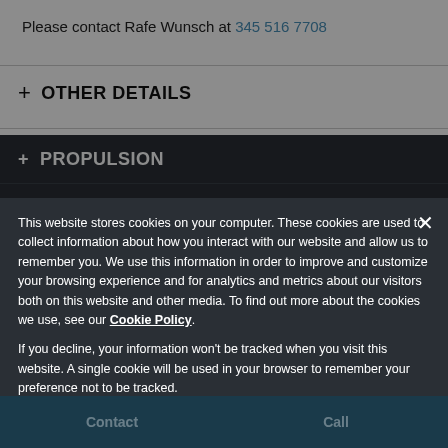Please contact Rafe Wunsch at 345 516 7708
+ OTHER DETAILS
+ PROPULSION
+ SPECIFICATIONS
+ MORE YACHTS FROM AVALON MARINE
Offered By: Avalon Marine
This website stores cookies on your computer. These cookies are used to collect information about how you interact with our website and allow us to remember you. We use this information in order to improve and customize your browsing experience and for analytics and metrics about our visitors both on this website and other media. To find out more about the cookies we use, see our Cookie Policy.
If you decline, your information won't be tracked when you visit this website. A single cookie will be used in your browser to remember your preference not to be tracked.
Deny
Accept Cookies
Contact
Call